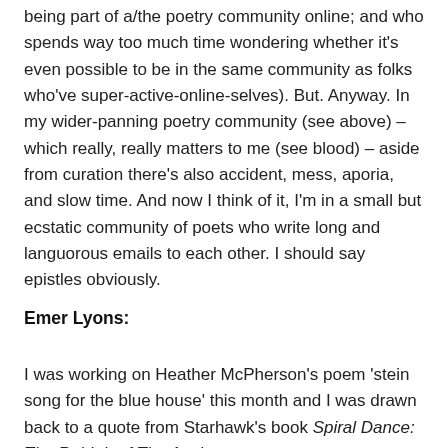being part of a/the poetry community online; and who spends way too much time wondering whether it's even possible to be in the same community as folks who've super-active-online-selves). But. Anyway. In my wider-panning poetry community (see above) – which really, really matters to me (see blood) – aside from curation there's also accident, mess, aporia, and slow time. And now I think of it, I'm in a small but ecstatic community of poets who write long and languorous emails to each other. I should say epistles obviously.
Emer Lyons:
I was working on Heather McPherson's poem 'stein song for the blue house' this month and I was drawn back to a quote from Starhawk's book Spiral Dance: The Rebirth of The Ancient